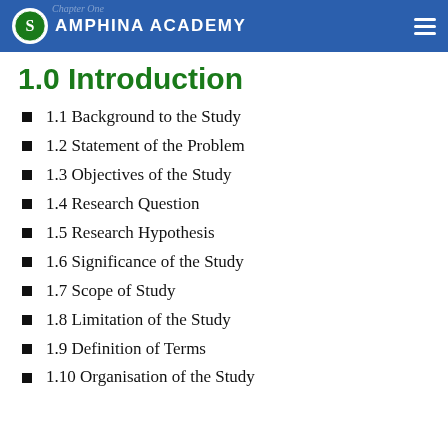SAMPHINA ACADEMY
1.0 Introduction
1.1 Background to the Study
1.2 Statement of the Problem
1.3 Objectives of the Study
1.4 Research Question
1.5 Research Hypothesis
1.6 Significance of the Study
1.7 Scope of Study
1.8 Limitation of the Study
1.9 Definition of Terms
1.10 Organisation of the Study